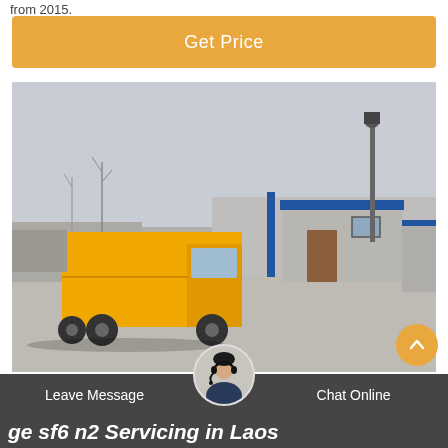from 2015.
Get Price
[Figure (photo): A yellow delivery truck at a gated industrial facility with a guard booth and blue-trimmed structures in the background.]
Leave Message
Chat Online
ge sf6 n2 Servicing in Laos